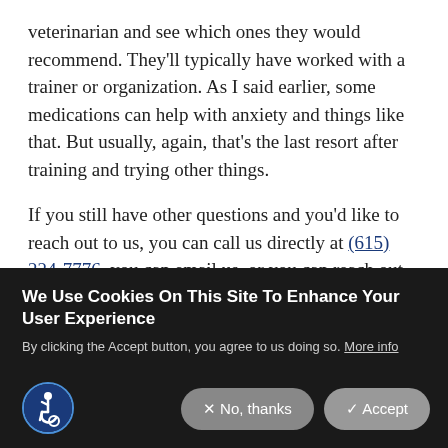veterinarian and see which ones they would recommend. They'll typically have worked with a trainer or organization. As I said earlier, some medications can help with anxiety and things like that. But usually, again, that's the last resort after training and trying other things.
If you still have other questions and you'd like to reach out to us, you can call us directly at (615) 224-7776, you can email us, or you can reach out on Facebook. But please do reach out, and we'll
We Use Cookies On This Site To Enhance Your User Experience
By clicking the Accept button, you agree to us doing so. More info